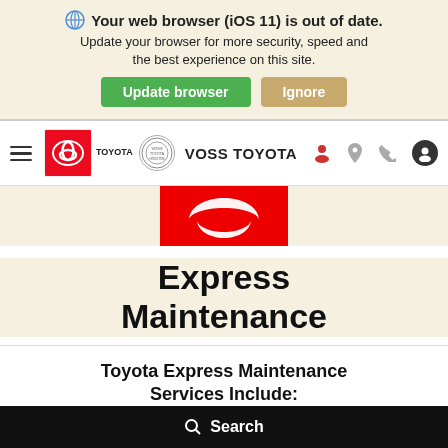Your web browser (iOS 11) is out of date. Update your browser for more security, speed and the best experience on this site.
[Figure (screenshot): Browser update banner with 'Update browser' green button and 'Ignore' tan button]
[Figure (logo): Toyota logo oval in red, dealer seal circle, and nav icons on white navigation bar with VOSS TOYOTA dealership name]
[Figure (logo): Red Toyota logo strip (partial, top portion showing)]
Express Maintenance
Toyota Express Maintenance Services Include:
Search